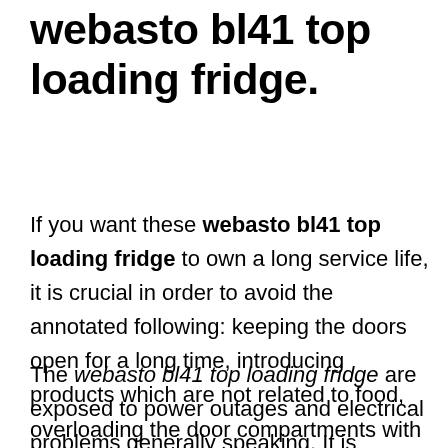webasto bl41 top loading fridge.
If you want these webasto bl41 top loading fridge to own a long service life, it is crucial in order to avoid the annotated following: keeping the doors open for a long time, introducing products which are not related to food, overloading the door compartments with food.
The webasto bl41 top loading fridge are exposed to power outages and electrical problems generally speaking. It is strongly recommended to put in an electric regulator in